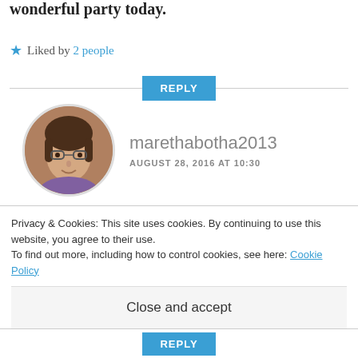wonderful party today.
★ Liked by 2 people
REPLY
[Figure (photo): Avatar photo of marethabotha2013 — a woman with glasses and dark hair in a circular crop]
marethabotha2013
AUGUST 28, 2016 AT 10:30
Thanks so much for popping by. I've really enjoyed this month's blog tour which has given me an opportunity to get to
Privacy & Cookies: This site uses cookies. By continuing to use this website, you agree to their use.
To find out more, including how to control cookies, see here: Cookie Policy
Close and accept
REPLY